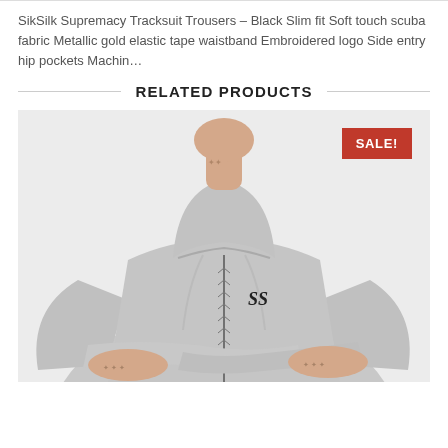SikSilk Supremacy Tracksuit Trousers – Black Slim fit Soft touch scuba fabric Metallic gold elastic tape waistband Embroidered logo Side entry hip pockets Machin…
RELATED PRODUCTS
[Figure (photo): Man wearing a grey zip-up hoodie with embroidered logo on chest, arms crossed, tattooed neck and hands. A red SALE! badge appears in the top right corner of the product image.]